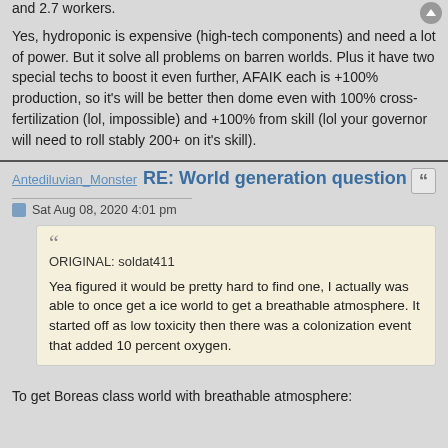and 2.7 workers.
Yes, hydroponic is expensive (high-tech components) and need a lot of power. But it solve all problems on barren worlds. Plus it have two special techs to boost it even further, AFAIK each is +100% production, so it's will be better then dome even with 100% cross-fertilization (lol, impossible) and +100% from skill (lol your governor will need to roll stably 200+ on it's skill).
RE: World generation question
Antediluvian_Monster
Sat Aug 08, 2020 4:01 pm
ORIGINAL: soldat411

Yea figured it would be pretty hard to find one, I actually was able to once get a ice world to get a breathable atmosphere. It started off as low toxicity then there was a colonization event that added 10 percent oxygen.
To get Boreas class world with breathable atmosphere: